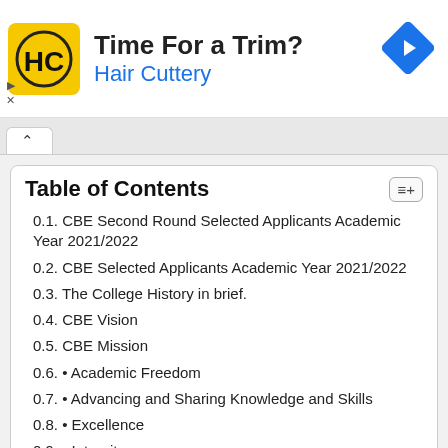[Figure (illustration): Hair Cuttery advertisement banner with yellow HC logo square, 'Time For a Trim?' title, 'Hair Cuttery' subtitle in blue, and a blue diamond-shaped arrow icon on the right.]
Table of Contents
0.1. CBE Second Round Selected Applicants Academic Year 2021/2022
0.2. CBE Selected Applicants Academic Year 2021/2022
0.3. The College History in brief.
0.4. CBE Vision
0.5. CBE Mission
0.6. • Academic Freedom
0.7. • Advancing and Sharing Knowledge and Skills
0.8. • Excellence
0.9. • Integrity
0.10. • Mutual Respect and Equity
0.11. • Public Interest/ Customer Care
0.12. CBE Selected Applicants Academic Year 2021/2022